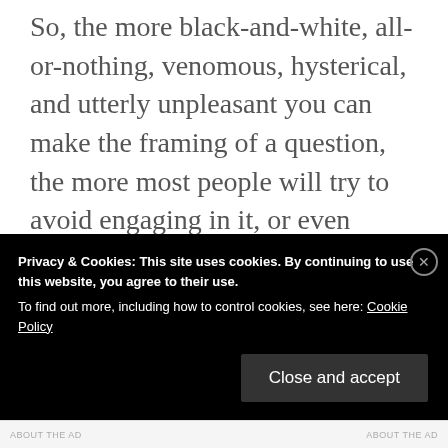So, the more black-and-white, all-or-nothing, venomous, hysterical, and utterly unpleasant you can make the framing of a question, the more most people will try to avoid engaging in it, or even hearing about it. The trouble is that any attempt to be “reasonable”, “thoughtful”, or looking for a middle ground gets you attacked by the extremists on both sides. In that
Privacy & Cookies: This site uses cookies. By continuing to use this website, you agree to their use.
To find out more, including how to control cookies, see here: Cookie Policy
Close and accept
ABOUT.THE.AD ... ABOUT.THE.AD